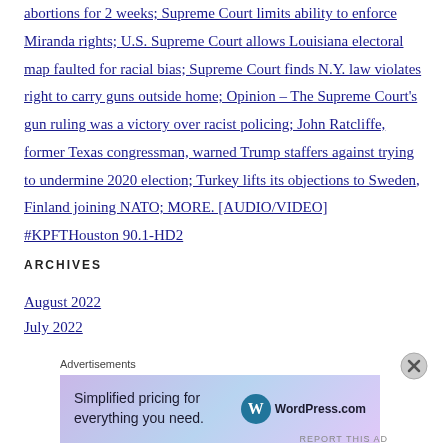abortions for 2 weeks; Supreme Court limits ability to enforce Miranda rights; U.S. Supreme Court allows Louisiana electoral map faulted for racial bias; Supreme Court finds N.Y. law violates right to carry guns outside home; Opinion – The Supreme Court's gun ruling was a victory over racist policing; John Ratcliffe, former Texas congressman, warned Trump staffers against trying to undermine 2020 election; Turkey lifts its objections to Sweden, Finland joining NATO; MORE. [AUDIO/VIDEO] #KPFTHouston 90.1-HD2
ARCHIVES
August 2022
July 2022
Advertisements
[Figure (other): WordPress.com advertisement banner: Simplified pricing for everything you need.]